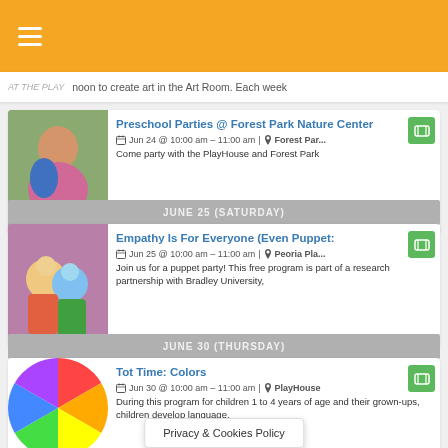≡
AT THE PLAY   noon to create art in the Art Room. Each week
Preschool Parties @ Forest Park Nature Center — Jun 24 @ 10:00 am – 11:00 am | Forest Par... — Come party with the PlayHouse and Forest Park
JUNE 25 (SATURDAY)
Empathy Is For Everyone (Even Puppets) — Jun 25 @ 10:00 am – 11:00 am | Peoria Pla... — Join us for a puppet party! This free program is part of a research partnership with Bradley University,
JUNE 30 (THURSDAY)
Tot Time: Colors — Jun 30 @ 10:00 am – 11:00 am | PlayHouse — During this program for children 1 to 4 years of age and their grown-ups, children develop language,
Privacy & Cookies Policy